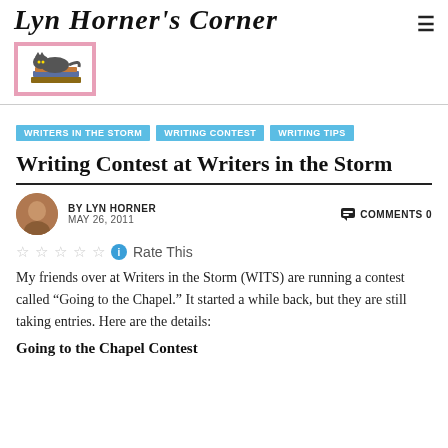Lyn Horner's Corner
[Figure (photo): Logo: a cat lying on books inside a pink-bordered box]
WRITERS IN THE STORM
WRITING CONTEST
WRITING TIPS
Writing Contest at Writers in the Storm
BY LYN HORNER   MAY 26, 2011   COMMENTS 0
Rate This
My friends over at Writers in the Storm (WITS) are running a contest called “Going to the Chapel.” It started a while back, but they are still taking entries. Here are the details:
Going to the Chapel Contest